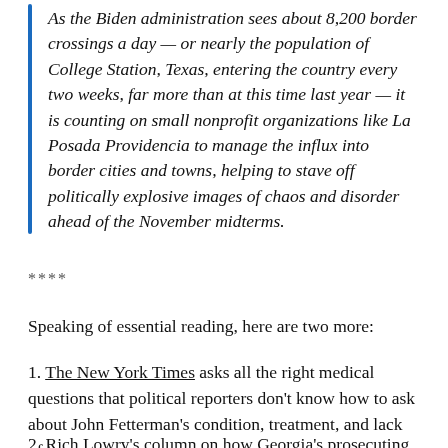As the Biden administration sees about 8,200 border crossings a day — or nearly the population of College Station, Texas, entering the country every two weeks, far more than at this time last year — it is counting on small nonprofit organizations like La Posada Providencia to manage the influx into border cities and towns, helping to stave off politically explosive images of chaos and disorder ahead of the November midterms.
****
Speaking of essential reading, here are two more:
1. The New York Times asks all the right medical questions that political reporters don't know how to ask about John Fetterman's condition, treatment, and lack of transparency.
2. Rich Lowry's column on how Georgia's prosecuting...